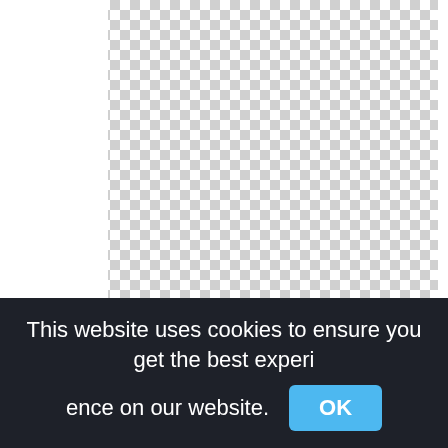[Figure (illustration): A checkerboard pattern representing a transparent/empty PNG canvas area, with white borders on left side. No visible sailboat image content.]
sailboat silhouette clip art sailboat png
This website uses cookies to ensure you get the best experience on our website.
OK